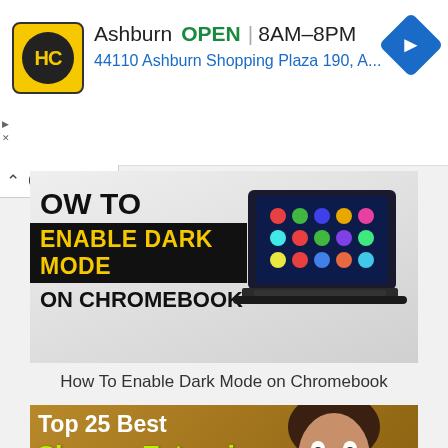[Figure (screenshot): Advertisement banner for HC store in Ashburn with logo, OPEN status, hours 8AM-8PM, address 44110 Ashburn Shopping Plaza 190, A..., and blue directional arrow icon]
[Figure (screenshot): Thumbnail image for 'How To Enable Dark Mode on Chromebook' article with black background text and yellow highlighted title, plus Chromebook laptop image]
How To Enable Dark Mode on Chromebook
[Figure (screenshot): Thumbnail for 'Top 25 Best Chrome Extensions That Will Make You Insanely Productive' with woman's surprised face on golden/brown background, white and yellow-green text]